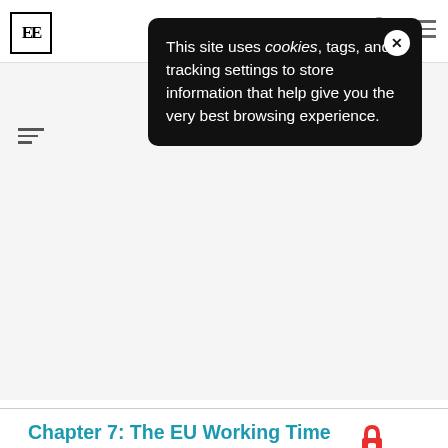EE [logo] | navigation bar with person icon and hamburger menu
[Figure (screenshot): Cookie consent popup with dark background reading: This site uses cookies, tags, and tracking settings to store information that help give you the very best browsing experience. With a white X close button.]
Chapter 7: The EU Working Time Directive in the Czech Republic
Tomáš Sirovátka
Category: Monograph Chapter
in The Sustainability of the European Social Model
Tomáš Sirovátka